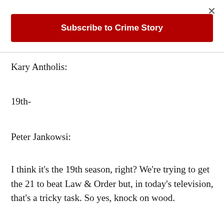[Figure (other): Close button (×) in top right corner]
[Figure (other): Red subscribe button bar with white bold text 'Subscribe to Crime Story']
Kary Antholis:
19th-
Peter Jankowsi:
I think it's the 19th season, right? We're trying to get the 21 to beat Law & Order but, in today's television, that's a tricky task. So yes, knock on wood.
Kary Antholis: